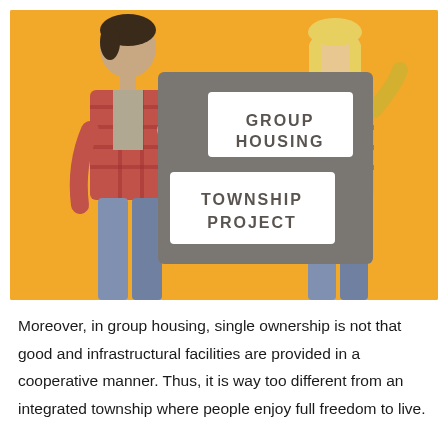[Figure (photo): A man and a woman standing against an orange background, each holding a dark grey sign board. The sign board has two white labels reading 'GROUP HOUSING' and 'TOWNSHIP PROJECT'. The man on the left wears a red checked shirt and points at the sign; the woman on the right wears a yellow-blue checked shirt and also points at the sign.]
Moreover, in group housing, single ownership is not that good and infrastructural facilities are provided in a cooperative manner. Thus, it is way too different from an integrated township where people enjoy full freedom to live.